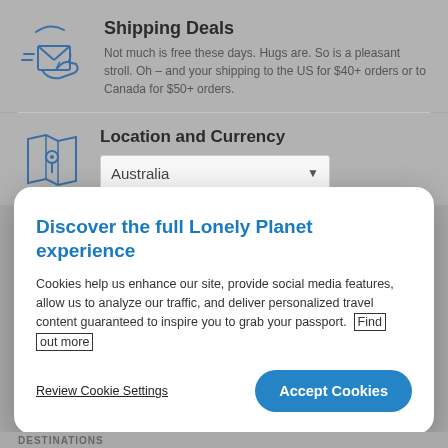Shipping Deals
Not much is free these days. Hugs are. So is a pleasant stroll. Oh – and your shipping to the US for $40+ orders or to Canada for $50+ orders.
Location and Currency
Australia
Discover the full Lonely Planet experience
Cookies help us enhance our site, provide social media features, allow us to analyze our traffic, and deliver personalized travel content guaranteed to inspire you to grab your passport. Find out more
Review Cookie Settings
Accept Cookies
DESTINATIONS